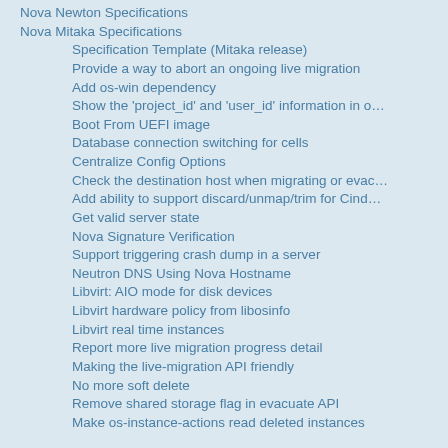Nova Newton Specifications
Nova Mitaka Specifications
Specification Template (Mitaka release)
Provide a way to abort an ongoing live migration
Add os-win dependency
Show the 'project_id' and 'user_id' information in o…
Boot From UEFI image
Database connection switching for cells
Centralize Config Options
Check the destination host when migrating or evac…
Add ability to support discard/unmap/trim for Cind…
Get valid server state
Nova Signature Verification
Support triggering crash dump in a server
Neutron DNS Using Nova Hostname
Libvirt: AIO mode for disk devices
Libvirt hardware policy from libosinfo
Libvirt real time instances
Report more live migration progress detail
Making the live-migration API friendly
No more soft delete
Remove shared storage flag in evacuate API
Make os-instance-actions read deleted instances